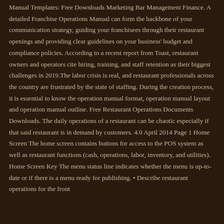Manual Templates: Free Downloads Marketing Bar Management Finance. A detailed Franchise Operations Manual can form the backbone of your communication strategy, guiding your franchisees through their restaurant openings and providing clear guidelines on your business' budget and compliance policies. According to a recent report from Toast, restaurant owners and operators cite hiring, training, and staff retention as their biggest challenges in 2019.The labor crisis is real, and restaurant professionals across the country are frustrated by the state of staffing. During the creation process, it is essential to know the operation manual format, operation manual layout and operation manual outline. Free Restaurant Operations Documents Downloads. The daily operations of a restaurant can be chaotic especially if that said restaurant is in demand by customers. 4.0 April 2014 Page 1 Home Screen The home screen contains buttons for access to the POS system as well as restaurant functions (cash, operations, labor, inventory, and utilities). Home Screen Key The menu status line indicates whether the menu is up-to-date or if there is a menu ready for publishing. • Describe restaurant operations for the front